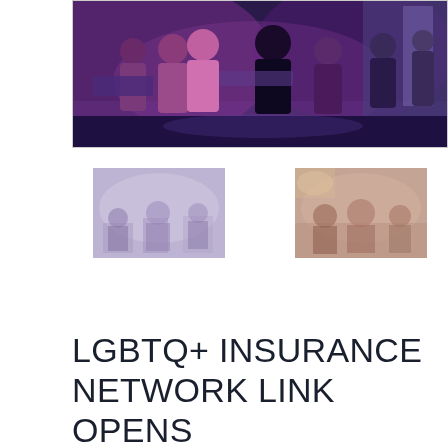[Figure (photo): A crowd of people at an indoor event with purple/violet ambient lighting. People are seen from behind, some in formal attire, standing in a venue.]
[Figure (photo): Thumbnail photo of an indoor event, faded/light appearance, showing people gathered in a venue.]
[Figure (photo): Thumbnail photo of a reddish-toned indoor event scene with people gathered.]
LGBTQ+ INSURANCE NETWORK LINK OPENS FIRST U.S. CHAPTER